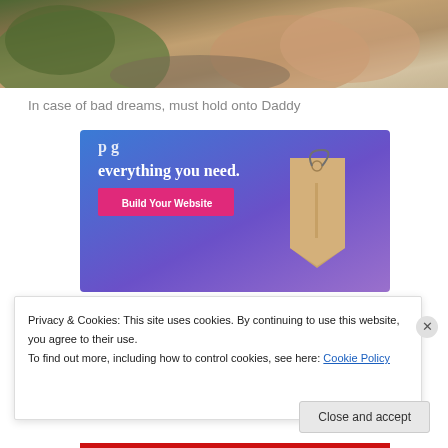[Figure (photo): Person sleeping, wearing a green graphic t-shirt, resting head on arm — cropped partial view of an adult sleeping]
In case of bad dreams, must hold onto Daddy
[Figure (other): Advertisement banner with blue-purple gradient background, text 'everything you need.', pink 'Build Your Website' button, and a tan/beige price tag graphic on the right side]
Privacy & Cookies: This site uses cookies. By continuing to use this website, you agree to their use.
To find out more, including how to control cookies, see here: Cookie Policy
Close and accept